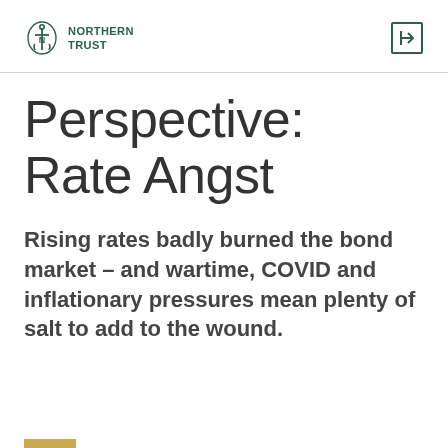NORTHERN TRUST
Perspective: Rate Angst
Rising rates badly burned the bond market – and wartime, COVID and inflationary pressures mean plenty of salt to add to the wound.